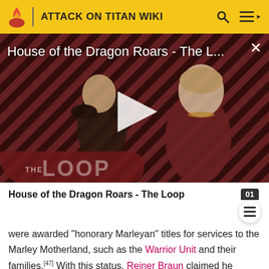ATTACK ON TITAN WIKI
[Figure (screenshot): Video thumbnail for 'House of the Dragon Roars - The L...' with a play button overlay, red and black diagonal stripe background, two characters visible, and 'THE LOOP' badge in bottom left. A close (X) button is in the top right.]
House of the Dragon Roars - The Loop
were awarded "honorary Marleyan" titles for services to the Marley Motherland, such as the Warrior Unit and their families.[47] With this status, Reiner Braun claimed he